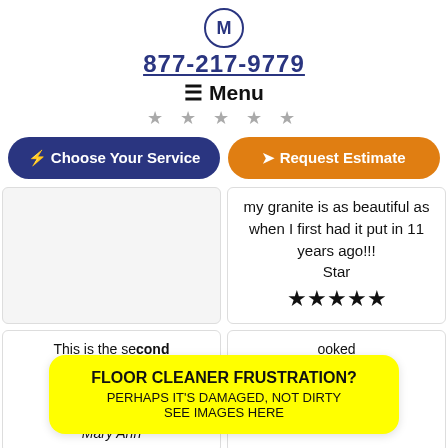[Figure (logo): M letter in a circular badge with dark blue border]
877-217-9779
☰ Menu
★ ★ ★ ★ ★ (faded stars)
⚡ Choose Your Service
➤ Request Estimate
my granite is as beautiful as when I first had it put in 11 years ago!!!
Star
★★★★★
This is the second time I ha service very Mary Ann
ooked job was Dan
FLOOR CLEANER FRUSTRATION?
PERHAPS IT'S DAMAGED, NOT DIRTY
SEE IMAGES HERE